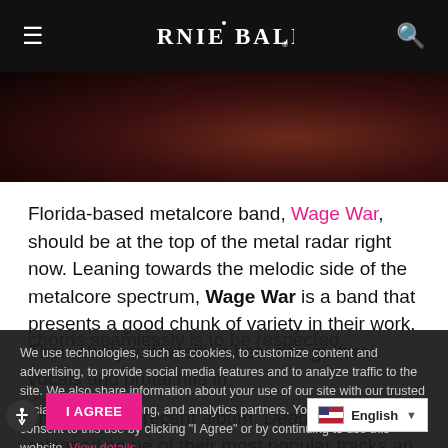ERNIE BALL
[Figure (photo): Dark moody photo of a metal band, partial view with dark reddish tones]
Florida-based metalcore band, Wage War, should be at the top of the metal radar right now. Leaning towards the melodic side of the metalcore spectrum, Wage War is a band that presents a good chunk of variety in their work. Their ability to transition between guttural vocals and brutal riffs in one breath while maintaining melodic chords seamlessly is to be respected.
We use technologies, such as cookies, to customize content and advertising, to provide social media features and to analyze traffic to the site. We also share information about your use of our site with our trusted social media, advertising, and analytics partners. You indicate your consent to this use by clicking "I Agree" or by continuing to use this website. View details.
on their most recent album, Deadweight, they released some of their most popular tracks and